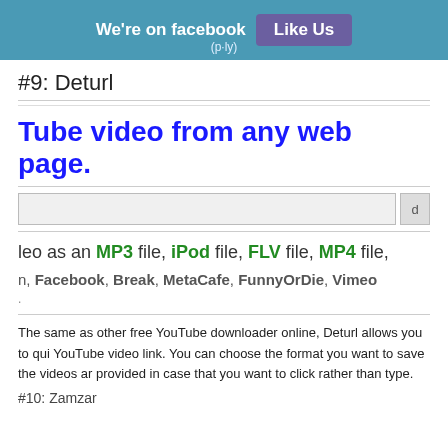We're on facebook  Like Us
#9: Deturl
[Figure (screenshot): Screenshot of Deturl website showing 'Tube video from any web page.' heading, a search bar, format options (MP3, iPod, FLV, MP4 files), and supported sites (Facebook, Break, MetaCafe, FunnyOrDie, Vimeo)]
The same as other free YouTube downloader online, Deturl allows you to qui YouTube video link. You can choose the format you want to save the videos ar provided in case that you want to click rather than type.
#10: Zamzar